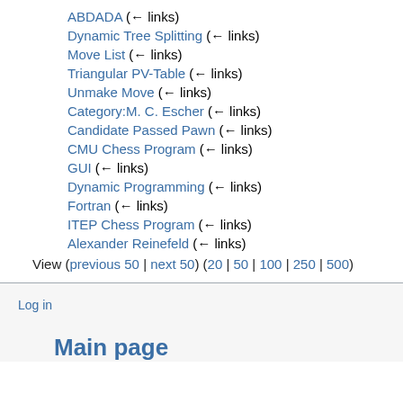ABDADA  (← links)
Dynamic Tree Splitting  (← links)
Move List  (← links)
Triangular PV-Table  (← links)
Unmake Move  (← links)
Category:M. C. Escher  (← links)
Candidate Passed Pawn  (← links)
CMU Chess Program  (← links)
GUI  (← links)
Dynamic Programming  (← links)
Fortran  (← links)
ITEP Chess Program  (← links)
Alexander Reinefeld  (← links)
View (previous 50 | next 50) (20 | 50 | 100 | 250 | 500)
Log in
Main page